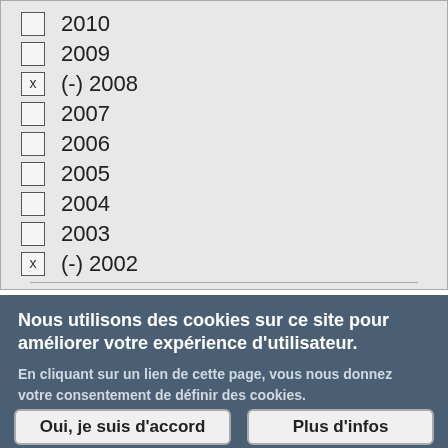☐ 2010
☐ 2009
x (-) 2008
☐ 2007
☐ 2006
☐ 2005
☐ 2004
☐ 2003
x (-) 2002
Nous utilisons des cookies sur ce site pour améliorer votre expérience d'utilisateur.
En cliquant sur un lien de cette page, vous nous donnez votre consentement de définir des cookies.
Oui, je suis d'accord   Plus d'infos